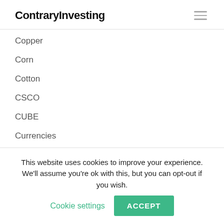ContraryInvesting
Copper
Corn
Cotton
CSCO
CUBE
Currencies
D
David Rosenberg
This website uses cookies to improve your experience. We'll assume you're ok with this, but you can opt-out if you wish. Cookie settings ACCEPT